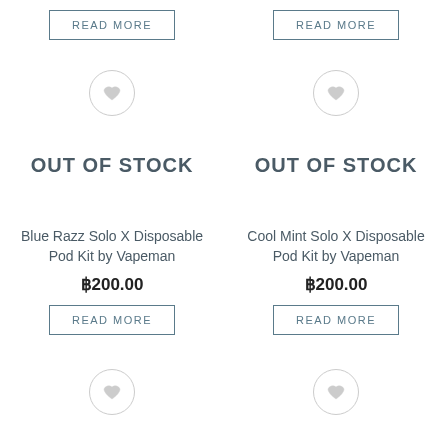READ MORE (top left button)
READ MORE (top right button)
[Figure (illustration): Wishlist heart icon in circle - left product card]
OUT OF STOCK
[Figure (illustration): Wishlist heart icon in circle - right product card]
OUT OF STOCK
Blue Razz Solo X Disposable Pod Kit by Vapeman
฿200.00
READ MORE
Cool Mint Solo X Disposable Pod Kit by Vapeman
฿200.00
READ MORE
[Figure (illustration): Wishlist heart icon in circle - bottom left]
[Figure (illustration): Wishlist heart icon in circle - bottom right]